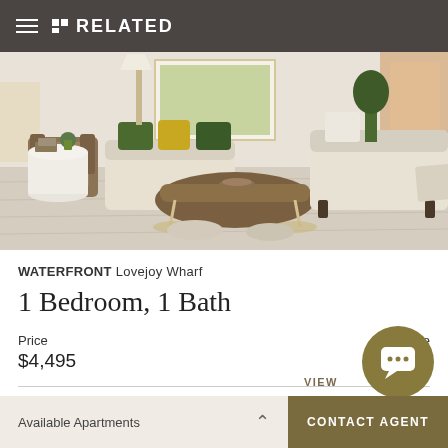RELATED
[Figure (photo): Interior photo of a modern living room with cream sofas, wooden coffee table, green and yellow accent pillows, and light hardwood floors.]
WATERFRONT Lovejoy Wharf
1 Bedroom, 1 Bath
Price
Available
$4,495
VIEW
Available Apartments  CONTACT AGENT